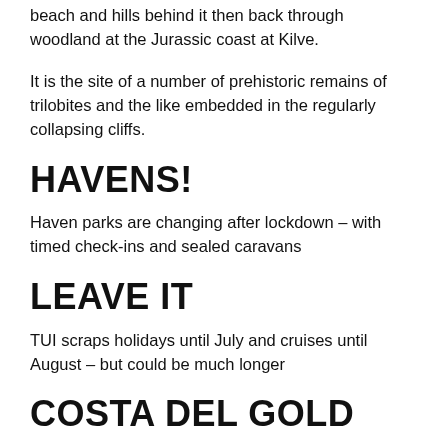beach and hills behind it then back through woodland at the Jurassic coast at Kilve.
It is the site of a number of prehistoric remains of trilobites and the like embedded in the regularly collapsing cliffs.
HAVENS!
Haven parks are changing after lockdown – with timed check-ins and sealed caravans
LEAVE IT
TUI scraps holidays until July and cruises until August – but could be much longer
COSTA DEL GOLD